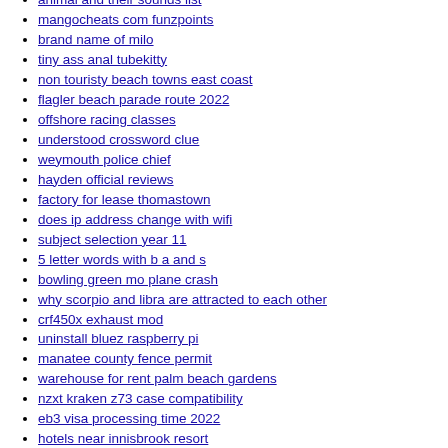animal and their sounds list
mangocheats com funzpoints
brand name of milo
tiny ass anal tubekitty
non touristy beach towns east coast
flagler beach parade route 2022
offshore racing classes
understood crossword clue
weymouth police chief
hayden official reviews
factory for lease thomastown
does ip address change with wifi
subject selection year 11
5 letter words with b a and s
bowling green mo plane crash
why scorpio and libra are attracted to each other
crf450x exhaust mod
uninstall bluez raspberry pi
manatee county fence permit
warehouse for rent palm beach gardens
nzxt kraken z73 case compatibility
eb3 visa processing time 2022
hotels near innisbrook resort
moroccan room divider
luxury apartments in georgia
350l oddity